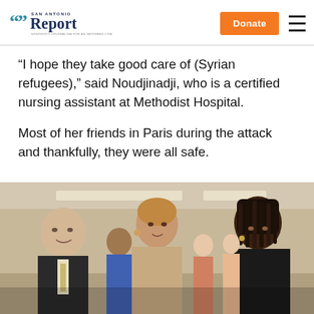San Antonio Report | Donate
“I hope they take good care of (Syrian refugees),” said Noudjinadji, who is a certified nursing assistant at Methodist Hospital.
Most of her friends in Paris during the attack and thankfully, they were all safe.
[Figure (photo): Three people in conversation at an indoor event: a man in a suit on the left, a woman with short hair in the center, and a woman with long braids on the right. Additional people visible in the background.]